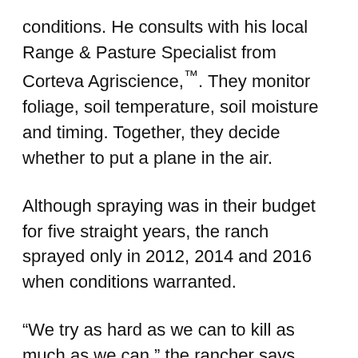conditions. He consults with his local Range & Pasture Specialist from Corteva Agriscience,™. They monitor foliage, soil temperature, soil moisture and timing. Together, they decide whether to put a plane in the air.
Although spraying was in their budget for five straight years, the ranch sprayed only in 2012, 2014 and 2016 when conditions warranted.
“We try as hard as we can to kill as much as we can,” the rancher says. “We’re never going to kill 100 percent anyway. We’ll still leave some shade for cattle.”